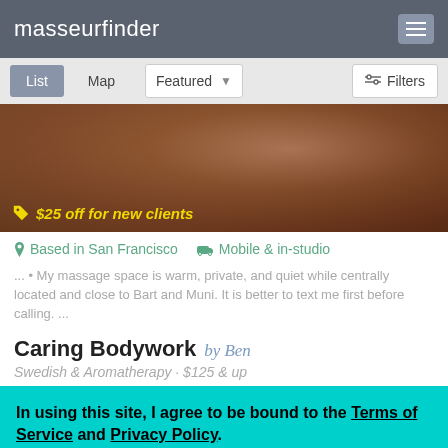masseurfinder
List  Map  Featured  Filters
[Figure (photo): Hero image of a person, partially visible, with a yellow discount badge overlay reading '$25 off for new clients']
Based in San Francisco  Mobile & in-studio
... • My massage space is warm, private, and quiet while centrally located and close to Bart and Muni. It is better to text me first before calling. ...
Caring Bodywork by Ben
Swedish & Aromatherapy · $125 & up
In using this site, I agree to be bound to the Terms of Service and Privacy Policy.
Leave   I agree